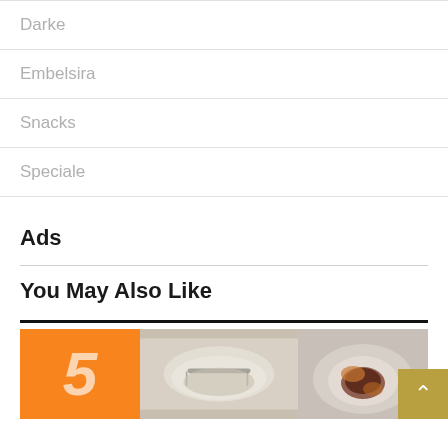Darke
Embelsira
Snacks
Speciale
Ads
You May Also Like
[Figure (photo): Food/recipe image row with orange block showing number 5 and two food photos]